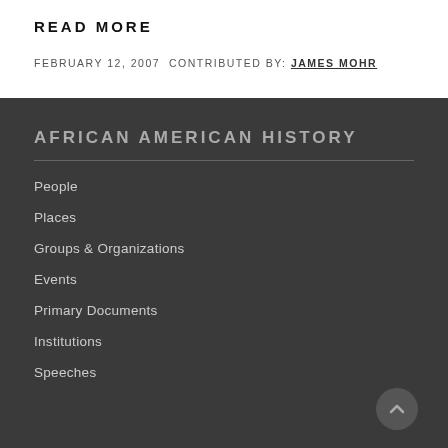READ MORE
FEBRUARY 12, 2007  CONTRIBUTED BY: JAMES MOHR
AFRICAN AMERICAN HISTORY
People
Places
Groups & Organizations
Events
Primary Documents
Institutions
Speeches